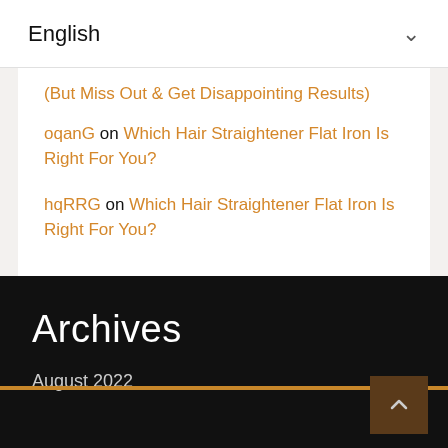English
(But Miss Out & Get Disappointing Results)
oqanG on Which Hair Straightener Flat Iron Is Right For You?
hqRRG on Which Hair Straightener Flat Iron Is Right For You?
Archives
August 2022